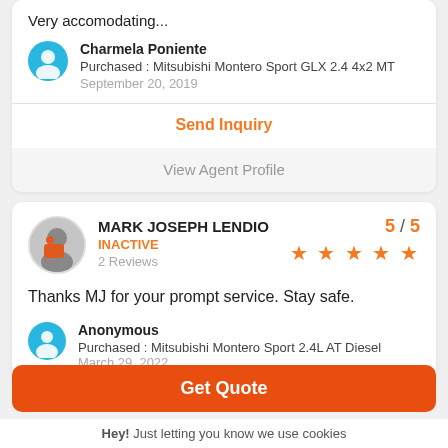Very accomodating...
Charmela Poniente
Purchased : Mitsubishi Montero Sport GLX 2.4 4x2 MT
September 20, 2019
Send Inquiry
View Agent Profile
MARK JOSEPH LENDIO
INACTIVE
2 Reviews
5 / 5
Thanks MJ for your prompt service. Stay safe.
Anonymous
Purchased : Mitsubishi Montero Sport 2.4L AT Diesel  March 29, 2022
Get Quote
Hey! Just letting you know we use cookies